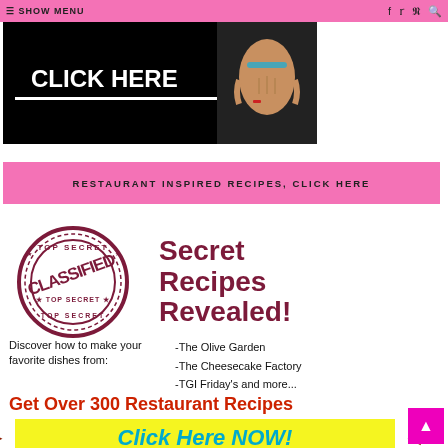— SHOW MENU   f  t  p  🔍
[Figure (photo): Black fitness advertisement banner with 'CLICK HERE' text in white bold letters underlined, and a fitness model torso on the right.]
RESTAURANT INSPIRED RECIPES, CLICK HERE
[Figure (illustration): Classified stamp logo (circular, dark red) reading TOP SECRET / CLASSIFIED / TOP SECRET alongside bold text 'Secret Recipes Revealed!' in dark red]
Discover how to make your favorite dishes from:
-The Olive Garden
-The Cheesecake Factory
-TGI Friday's and more...
Get Over 300 Restaurant Recipes
[Figure (infographic): Yellow button with cyan italic text 'Click Here NOW!' flanked by red arrow graphics on left and right]